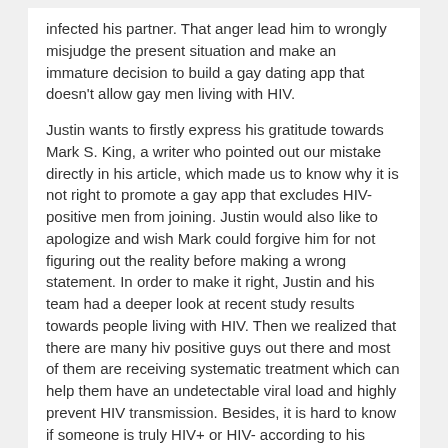infected his partner. That anger lead him to wrongly misjudge the present situation and make an immature decision to build a gay dating app that doesn't allow gay men living with HIV.
Justin wants to firstly express his gratitude towards Mark S. King, a writer who pointed out our mistake directly in his article, which made us to know why it is not right to promote a gay app that excludes HIV-positive men from joining. Justin would also like to apologize and wish Mark could forgive him for not figuring out the reality before making a wrong statement. In order to make it right, Justin and his team had a deeper look at recent study results towards people living with HIV. Then we realized that there are many hiv positive guys out there and most of them are receiving systematic treatment which can help them have an undetectable viral load and highly prevent HIV transmission. Besides, it is hard to know if someone is truly HIV+ or HIV- according to his profile on a dating app. So we do not advocate unprotected sex.
Moreover, Justin wants to thank all the writers who have criticized his idea and all guys who have written us letters for making him realize that HIV is not so horrible and he highly suggests that all men should face up to it and receive treatment. In the end, we want you to know that DaddyBear is a great gay dating app for gay sugar daddies, gay sugar